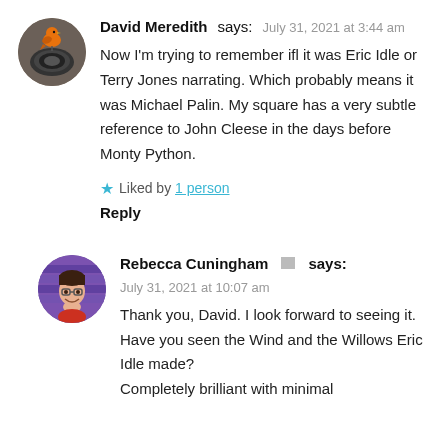[Figure (photo): Circular avatar of David Meredith showing a small orange bird perched on a camera lens, with grey/brown background]
David Meredith says: July 31, 2021 at 3:44 am
Now I'm trying to remember ifl it was Eric Idle or Terry Jones narrating. Which probably means it was Michael Palin. My square has a very subtle reference to John Cleese in the days before Monty Python.
★ Liked by 1 person
Reply
[Figure (photo): Circular avatar of Rebecca Cuningham showing a woman with glasses smiling, purple background]
Rebecca Cuningham says: July 31, 2021 at 10:07 am
Thank you, David. I look forward to seeing it. Have you seen the Wind and the Willows Eric Idle made? Completely brilliant with minimal